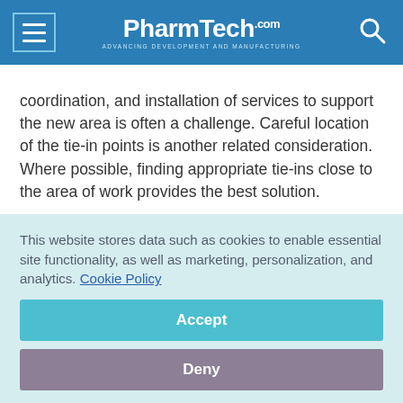PharmTech.com — Advancing Development and Manufacturing
coordination, and installation of services to support the new area is often a challenge. Careful location of the tie-in points is another related consideration. Where possible, finding appropriate tie-ins close to the area of work provides the best solution.
This website stores data such as cookies to enable essential site functionality, as well as marketing, personalization, and analytics. Cookie Policy
Accept
Deny